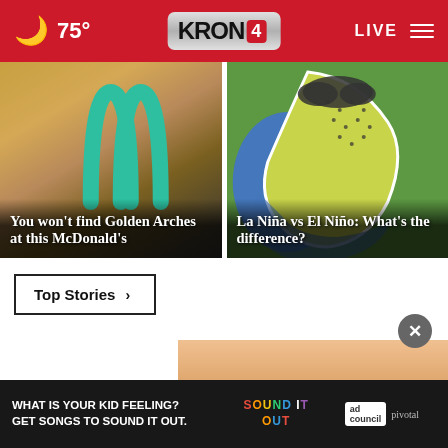🌙 75° KRON4 LIVE
[Figure (photo): McDonald's golden arches teal color against building exterior with trees]
You won't find Golden Arches at this McDonald's
[Figure (illustration): La Niña vs El Niño weather map illustration]
La Niña vs El Niño: What's the difference?
Top Stories ›
[Figure (photo): Partial photo of person's hands visible]
WHAT IS YOUR KID FEELING? GET SONGS TO SOUND IT OUT.
SOUND IT OUT | ad council | pivotal